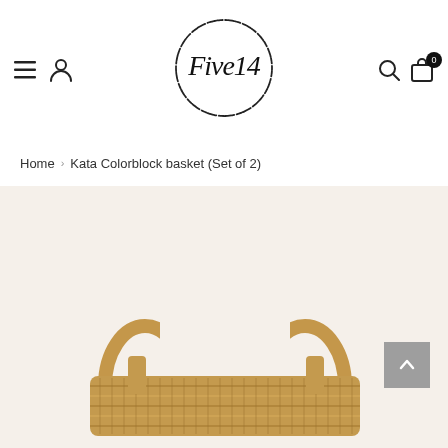[Figure (logo): Five14 store logo: circular hand-drawn border with cursive 'Five14' text inside]
Home › Kata Colorblock basket (Set of 2)
[Figure (photo): Product photo of a woven jute/seagrass basket with handles, set against a light beige background]